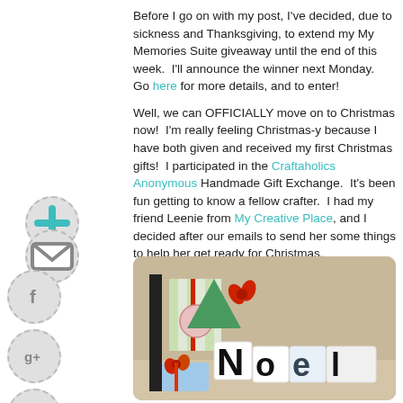Before I go on with my post, I've decided, due to sickness and Thanksgiving, to extend my My Memories Suite giveaway until the end of this week.  I'll announce the winner next Monday.  Go here for more details, and to enter!

Well, we can OFFICIALLY move on to Christmas now!  I'm really feeling Christmas-y because I have both given and received my first Christmas gifts!  I participated in the Craftaholics Anonymous Handmade Gift Exchange.  It's been fun getting to know a fellow crafter.  I had my friend Leenie from My Creative Place, and I decided after our emails to send her some things to help her get ready for Christmas.
[Figure (photo): Photo of Christmas gift items including NOEL letter blocks and wrapped gifts with ribbons]